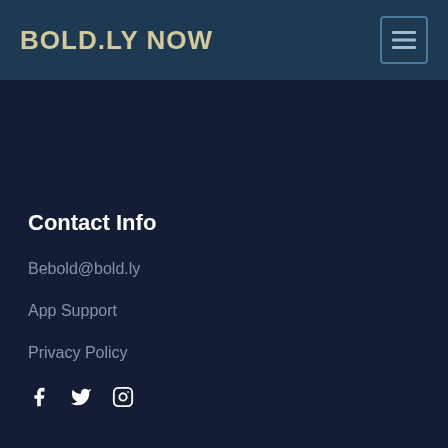BOLD.LY NOW
Contact Info
Bebold@bold.ly
App Support
Privacy Policy
[Figure (illustration): Social media icons: Facebook, Twitter, Instagram]